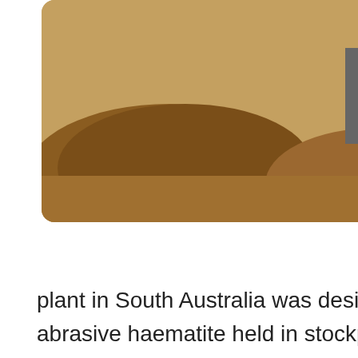[Figure (photo): Mining site with mounds of excavated earth/ore, heavy equipment visible in the background, red/orange soil.]
Jul 04, 2019 This 700TPH iron ore wash beneficiation plant in South Australia was designed to beneficiate extremely abrasive haematite held in stockpiles of low-grade iron ore which has accumulated over
get price
[Figure (photo): Large yellow mobile crushing/processing machine on a rocky/gravelly mining site with cloudy sky and workers visible on top.]
Beneficiation Of Iron Ore Jxscmachine
Sep 30, 2018 JXSC mine machinery Company in China has more than 30 years professional experience at iron ore washing and separation plant, design full set beneficiation of iron ore process flowchart, provide complete set iron ore processing equipment, can send engineers to mine site for iron ore separation equipment installation and
[Figure (photo): Partial view of mining equipment at bottom of page.]
China